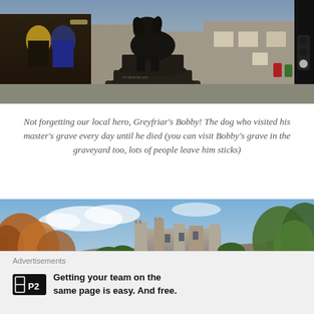[Figure (photo): Photo of Greyfriars Bobby statue, a bronze dog on a pedestal, with Edinburgh old stone buildings and a pub in the background]
Not forgetting our local hero, Greyfriar's Bobby! The dog who visited his master's grave every day until he died (you can visit Bobby's grave in the graveyard too, lots of people leave him sticks)
[Figure (photo): Photo of Edinburgh Castle on its rocky hill with trees in foreground and blue sky above]
Advertisements
Getting your team on the same page is easy. And free.